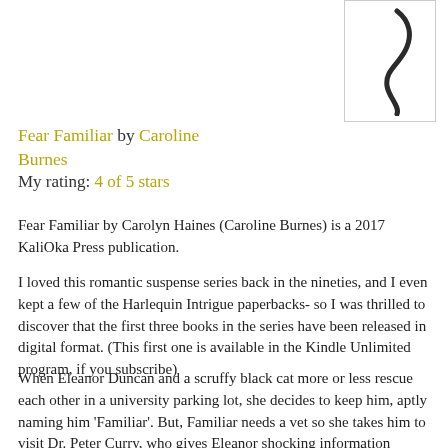[Figure (illustration): Book cover image showing a dark curved snake-like shape on a white background with a border]
Fear Familiar by Caroline Burnes
My rating: 4 of 5 stars
Fear Familiar by Carolyn Haines (Caroline Burnes) is a 2017 KaliOka Press publication.
I loved this romantic suspense series back in the nineties, and I even kept a few of the Harlequin Intrigue paperbacks- so I was thrilled to discover that the first three books in the series have been released in digital format. (This first one is available in the Kindle Unlimited program, if you subscribe)
When Eleanor Duncan and a scruffy black cat more or less rescue each other in a university parking lot, she decides to keep him, aptly naming him 'Familiar'. But, Familiar needs a vet so she takes him to visit Dr. Peter Curry, who gives Eleanor shocking information regarding an animal research center, and feels Familiar was a recent and lucky escapee...